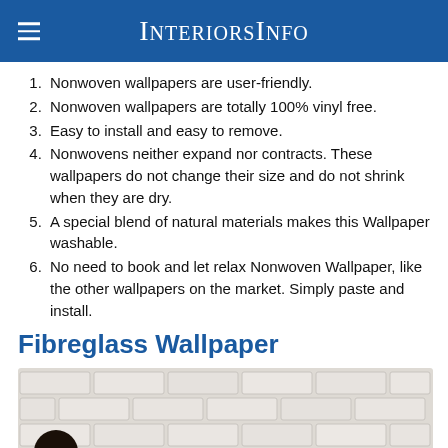InteriorsInfo
Nonwoven wallpapers are user-friendly.
Nonwoven wallpapers are totally 100% vinyl free.
Easy to install and easy to remove.
Nonwovens neither expand nor contracts. These wallpapers do not change their size and do not shrink when they are dry.
A special blend of natural materials makes this Wallpaper washable.
No need to book and let relax Nonwoven Wallpaper, like the other wallpapers on the market. Simply paste and install.
Fibreglass Wallpaper
[Figure (photo): Person with dark hair standing in front of a white 3D brick-pattern wallpaper]